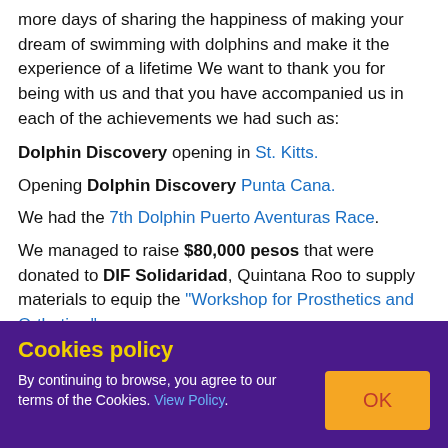more days of sharing the happiness of making your dream of swimming with dolphins and make it the experience of a lifetime We want to thank you for being with us and that you have accompanied us in each of the achievements we had such as:
Dolphin Discovery opening in St. Kitts.
Opening Dolphin Discovery Punta Cana.
We had the 7th Dolphin Puerto Aventuras Race.
We managed to raise $80,000 pesos that were donated to DIF Solidaridad, Quintana Roo to supply materials to equip the "Workshop for Prosthetics and Orthotics."
New attractions in Aquaventuras (Zipline, Wall Climber and Challenge)
For the third year is held the annual 10,000 Smiles event.
We raised $850,000 pesos that were given to ADANEC ABP (Association for Assistance to Children in
Cookies policy
By continuing to browse, you agree to our terms of the Cookies. View Policy.